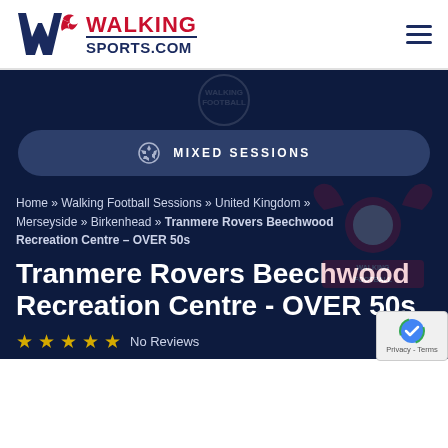WALKING SPORTS.COM — website header with logo and hamburger menu
[Figure (logo): Walking Sports.com logo: blue W with red bird icon, WALKING in red bold uppercase, SPORTS.COM in navy blue bold uppercase with underline]
MIXED SESSIONS
Home » Walking Football Sessions » United Kingdom » Merseyside » Birkenhead » Tranmere Rovers Beechwood Recreation Centre – OVER 50s
Tranmere Rovers Beechwood Recreation Centre - OVER 50s
No Reviews